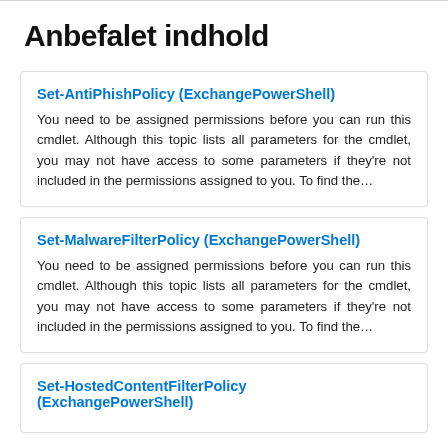Anbefalet indhold
Set-AntiPhishPolicy (ExchangePowerShell)
You need to be assigned permissions before you can run this cmdlet. Although this topic lists all parameters for the cmdlet, you may not have access to some parameters if they're not included in the permissions assigned to you. To find the…
Set-MalwareFilterPolicy (ExchangePowerShell)
You need to be assigned permissions before you can run this cmdlet. Although this topic lists all parameters for the cmdlet, you may not have access to some parameters if they're not included in the permissions assigned to you. To find the…
Set-HostedContentFilterPolicy (ExchangePowerShell)